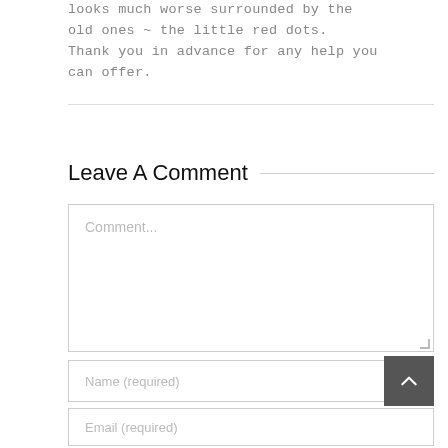looks much worse surrounded by the old ones ~ the little red dots. Thank you in advance for any help you can offer.
Leave A Comment
Comment...
Name (required)
Email (required)